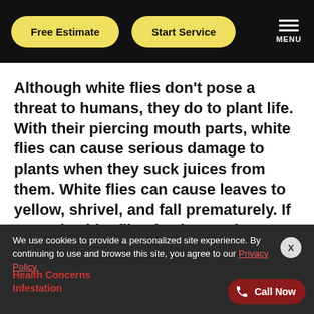Free Estimate | Start Service | MENU
Although white flies don't pose a threat to humans, they do to plant life. With their piercing mouth parts, white flies can cause serious damage to plants when they suck juices from them. White flies can cause leaves to yellow, shrivel, and fall prematurely. If enough white flies feed on a plant, they can cause it to die.
We use cookies to provide a personalized site experience. By continuing to use and browse this site, you agree to our Privacy Policy.
Health Concerns | Infestation | Call Now